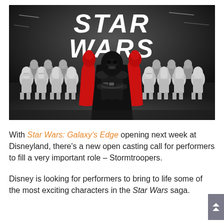[Figure (photo): Black and white photo of Darth Vader in the center flanked by two red Imperial Guards, surrounded by rows of Stormtroopers, with large STAR WARS logo text in the background]
With Star Wars: Galaxy's Edge opening next week at Disneyland, there's a new open casting call for performers to fill a very important role – Stormtroopers.
Disney is looking for performers to bring to life some of the most exciting characters in the Star Wars saga.